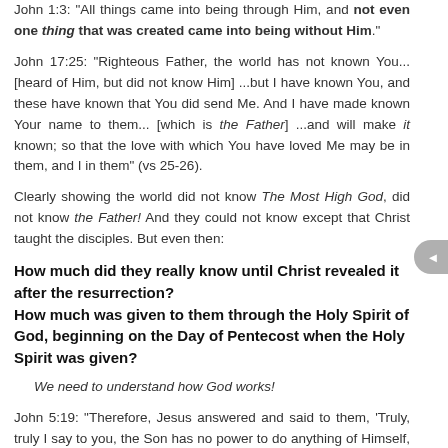John 1:3: "All things came into being through Him, and not even one thing that was created came into being without Him."
John 17:25: "Righteous Father, the world has not known You... [heard of Him, but did not know Him] ...but I have known You, and these have known that You did send Me. And I have made known Your name to them... [which is the Father] ...and will make it known; so that the love with which You have loved Me may be in them, and I in them" (vs 25-26).
Clearly showing the world did not know The Most High God, did not know the Father! And they could not know except that Christ taught the disciples. But even then:
How much did they really know until Christ revealed it after the resurrection?
How much was given to them through the Holy Spirit of God, beginning on the Day of Pentecost when the Holy Spirit was given?
We need to understand how God works!
John 5:19: "Therefore, Jesus answered and said to them, 'Truly, truly I say to you, the Son has no power to do anything of Himself, but only what He sees the Father do. For whatever He does, these things the Son also does in the same manner. For the Father loves